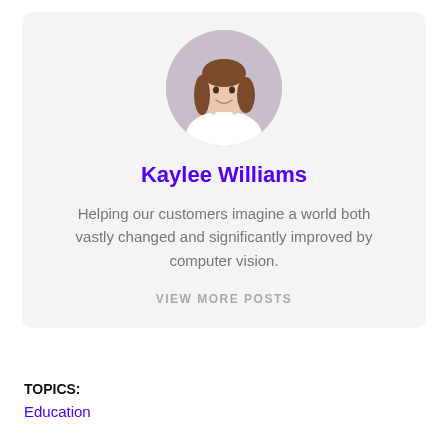[Figure (photo): Circular profile photo of Kaylee Williams, a woman with long brown hair wearing a white shirt, smiling]
Kaylee Williams
Helping our customers imagine a world both vastly changed and significantly improved by computer vision.
VIEW MORE POSTS
TOPICS:
Education